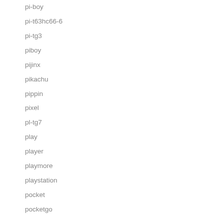pi-boy
pi-t63hc66-6
pi-tg3
piboy
pijinx
pikachu
pippin
pixel
pl-tg7
play
player
playmore
playstation
pocket
pocketgo